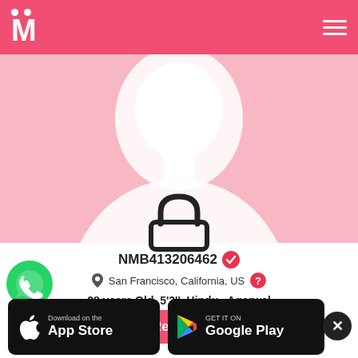[Figure (logo): Matrimony/matchmaking app logo with stylized M and two dots, pink header background]
[Figure (photo): Pink background with white silhouette of a person's head/bust, profile photo hidden behind lock icon]
[Figure (illustration): Black padlock icon indicating private/hidden profile]
NMB413206462 (verified checkmark)
San Francisco, California, US (question mark icon)
28 years Old, 5'3'', Hindu , Agarwal
[Figure (illustration): WhatsApp green phone icon button on left side]
Register
[Figure (screenshot): Download on the App Store button (black, Apple logo)]
[Figure (screenshot): GET IT ON Google Play button (black, Google Play logo)]
[Figure (illustration): Black circle close/X button bottom right]